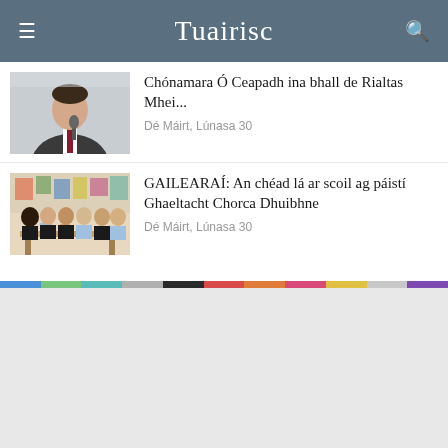Tuairisc
Chónamara Ó Ceapadh ina bhall de Rialtas Mhei...
Dé Máirt, Lúnasa 30
[Figure (photo): Man in suit speaking at microphone]
GAILEARAÍ: An chéad lá ar scoil ag páistí Ghaeltacht Chorca Dhuibhne
Dé Máirt, Lúnasa 30
[Figure (photo): Group of young children in school uniforms standing at a table]